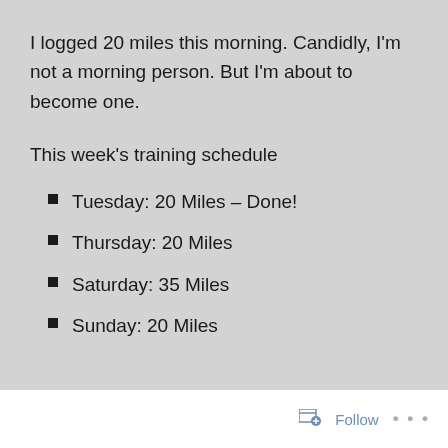I logged 20 miles this morning. Candidly, I'm not a morning person. But I'm about to become one.
This week's training schedule
Tuesday: 20 Miles – Done!
Thursday: 20 Miles
Saturday: 35 Miles
Sunday: 20 Miles
Follow ...